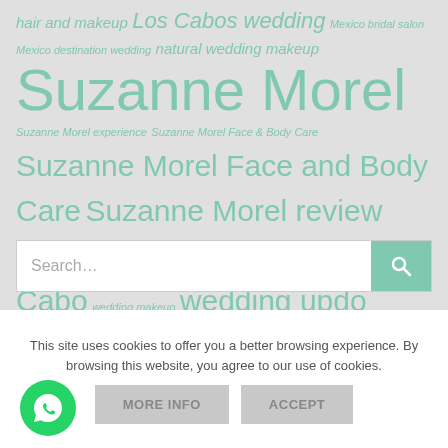hair and makeup Los Cabos wedding Mexico bridal salon Mexico destination wedding natural wedding makeup Suzanne Morel Suzanne Morel experience Suzanne Morel Face & Body Care Suzanne Morel Face and Body Care Suzanne Morel review Wedding hair and make-up Cabo wedding makeup wedding updo
[Figure (screenshot): Search bar with magnifying glass icon on teal background]
This site uses cookies to offer you a better browsing experience. By browsing this website, you agree to our use of cookies.
[Figure (other): WhatsApp floating button icon]
MORE INFO
ACCEPT